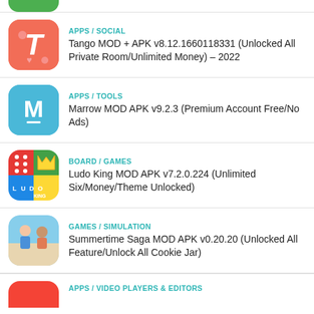APPS / SOCIAL — Tango MOD + APK v8.12.1660118331 (Unlocked All Private Room/Unlimited Money) – 2022
APPS / TOOLS — Marrow MOD APK v9.2.3 (Premium Account Free/No Ads)
BOARD / GAMES — Ludo King MOD APK v7.2.0.224 (Unlimited Six/Money/Theme Unlocked)
GAMES / SIMULATION — Summertime Saga MOD APK v0.20.20 (Unlocked All Feature/Unlock All Cookie Jar)
APPS / VIDEO PLAYERS & EDITORS